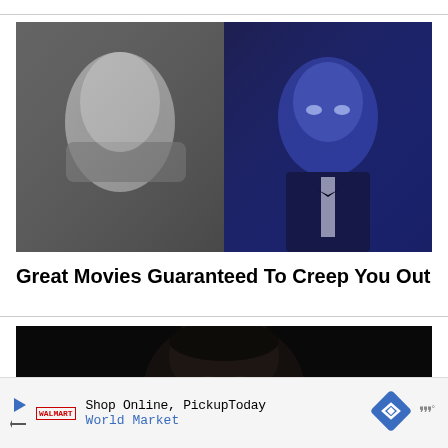[Figure (photo): Two horror movie stills side by side: left is black-and-white showing a woman being grabbed from behind by monstrous hands; right is a dark blue-tinted shot of a man in a tuxedo looking frightened]
Great Movies Guaranteed To Creep You Out
[Figure (photo): Dark horror movie still showing a person's face partially in shadow against a black background]
Shop Online, Pickup Today World Market